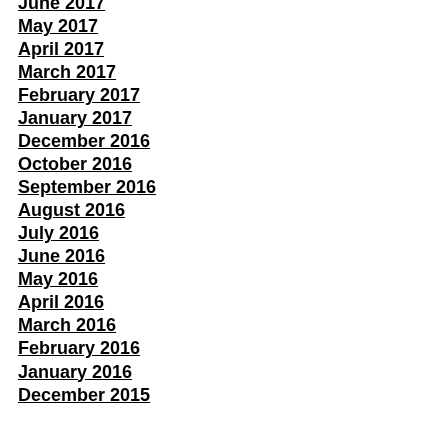June 2017
May 2017
April 2017
March 2017
February 2017
January 2017
December 2016
October 2016
September 2016
August 2016
July 2016
June 2016
May 2016
April 2016
March 2016
February 2016
January 2016
December 2015